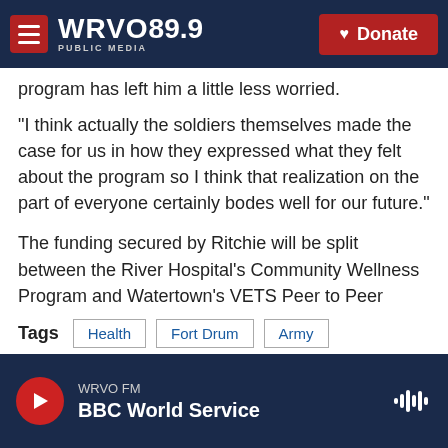WRVO 89.9 PUBLIC MEDIA — Donate
program has left him a little less worried.
“I think actually the soldiers themselves made the case for us in how they expressed what they felt about the program so I think that realization on the part of everyone certainly bodes well for our future.”
The funding secured by Ritchie will be split between the River Hospital’s Community Wellness Program and Watertown’s VETS Peer to Peer Outreach Center.
Tags   Health   Fort Drum   Army
WRVO FM — BBC World Service